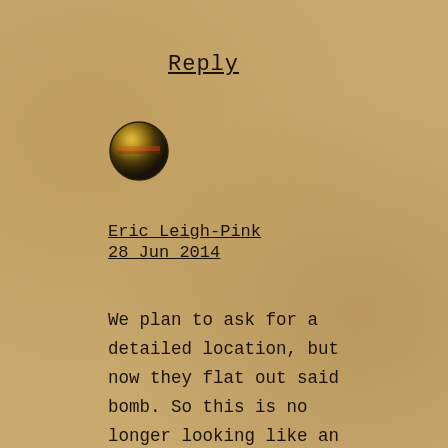Reply
[Figure (photo): Small circular avatar image showing a dark golden/olive colored sphere or profile picture]
Eric Leigh-Pink
28 Jun 2014
We plan to ask for a detailed location, but now they flat out said bomb. So this is no longer looking like an accident. To add, they kept showing the number